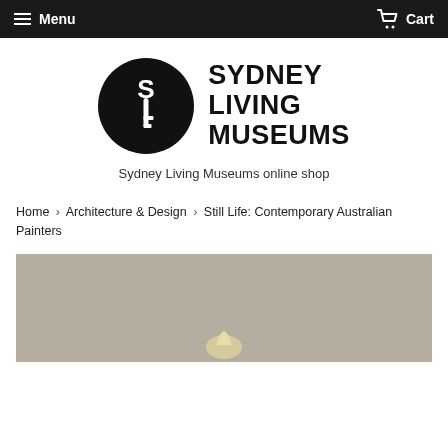Menu  Cart
[Figure (logo): Sydney Living Museums logo: black circle with a stylized key in white (S and key shape), next to bold black text reading SYDNEY LIVING MUSEUMS]
Sydney Living Museums online shop
Home › Architecture & Design › Still Life: Contemporary Australian Painters
[Figure (photo): Partial product image on a grey-taupe background with a small pale yellow object visible at the bottom center]